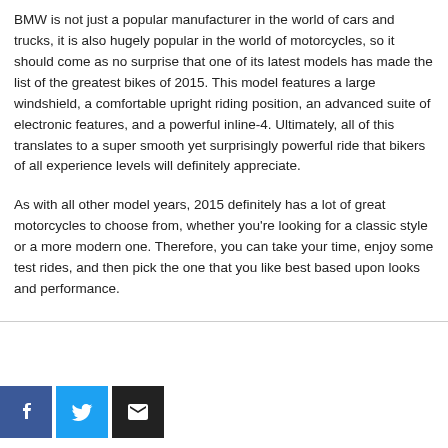BMW is not just a popular manufacturer in the world of cars and trucks, it is also hugely popular in the world of motorcycles, so it should come as no surprise that one of its latest models has made the list of the greatest bikes of 2015. This model features a large windshield, a comfortable upright riding position, an advanced suite of electronic features, and a powerful inline-4. Ultimately, all of this translates to a super smooth yet surprisingly powerful ride that bikers of all experience levels will definitely appreciate.
As with all other model years, 2015 definitely has a lot of great motorcycles to choose from, whether you're looking for a classic style or a more modern one. Therefore, you can take your time, enjoy some test rides, and then pick the one that you like best based upon looks and performance.
[Figure (other): Three social sharing buttons: Facebook (blue), Twitter (light blue), and Email (black) with respective icons]